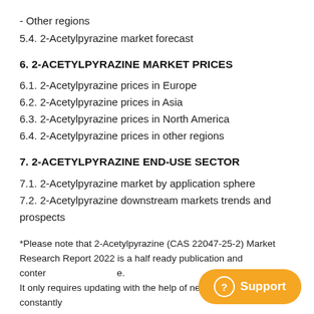- Other regions
5.4. 2-Acetylpyrazine market forecast
6. 2-ACETYLPYRAZINE MARKET PRICES
6.1. 2-Acetylpyrazine prices in Europe
6.2. 2-Acetylpyrazine prices in Asia
6.3. 2-Acetylpyrazine prices in North America
6.4. 2-Acetylpyrazine prices in other regions
7. 2-ACETYLPYRAZINE END-USE SECTOR
7.1. 2-Acetylpyrazine market by application sphere
7.2. 2-Acetylpyrazine downstream markets trends and prospects
*Please note that 2-Acetylpyrazine (CAS 22047-25-2) Market Research Report 2022 is a half ready publication and content is covered by a price. It only requires updating with the help of new data that are constantly